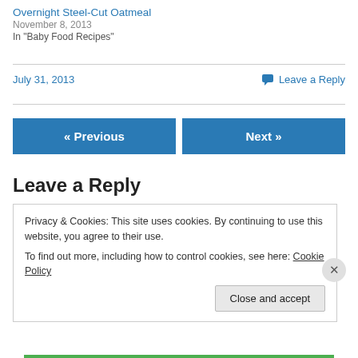Overnight Steel-Cut Oatmeal
November 8, 2013
In "Baby Food Recipes"
July 31, 2013
Leave a Reply
« Previous
Next »
Leave a Reply
Privacy & Cookies: This site uses cookies. By continuing to use this website, you agree to their use.
To find out more, including how to control cookies, see here: Cookie Policy
Close and accept